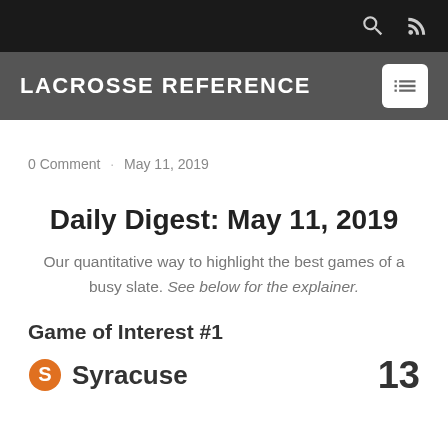LACROSSE REFERENCE
0 Comment   May 11, 2019
Daily Digest: May 11, 2019
Our quantitative way to highlight the best games of a busy slate. See below for the explainer.
Game of Interest #1
Syracuse   13